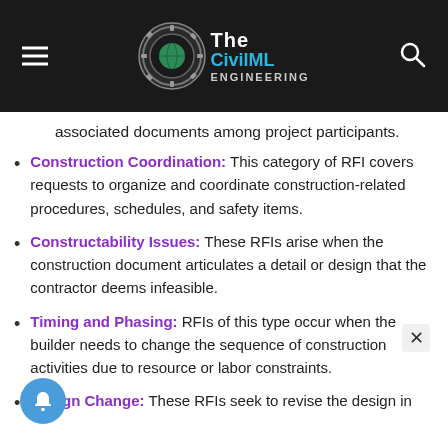The CivilML Engineering
associated documents among project participants.
Construction Coordination: This category of RFI covers requests to organize and coordinate construction-related procedures, schedules, and safety items.
Constructability Issues: These RFIs arise when the construction document articulates a detail or design that the contractor deems infeasible.
Timing and Phasing: RFIs of this type occur when the builder needs to change the sequence of construction activities due to resource or labor constraints.
Design Change: These RFIs seek to revise the design in